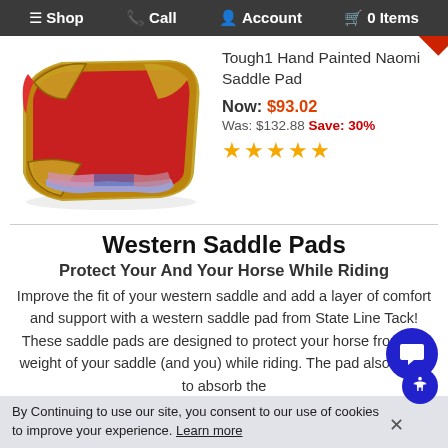Shop  Call  Account  0 Items
[Figure (photo): Red and tan Tough1 Hand Painted Naomi Saddle Pad with decorative beadwork corners and colorful tie-dye bottom edge]
Tough1 Hand Painted Naomi Saddle Pad
Now: $93.02
Was: $132.88 Save: 30%
★★★★★
Western Saddle Pads
Protect Your And Your Horse While Riding
Improve the fit of your western saddle and add a layer of comfort and support with a western saddle pad from State Line Tack! These saddle pads are designed to protect your horse from the weight of your saddle (and you) while riding. The pad also helps to absorb the
By Continuing to use our site, you consent to our use of cookies to improve your experience. Learn more